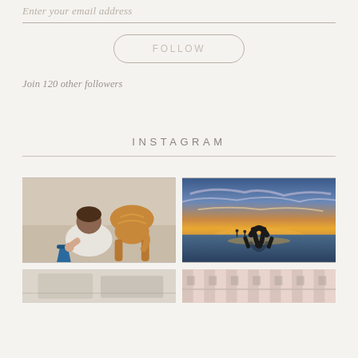Enter your email address
FOLLOW
Join 120 other followers
INSTAGRAM
[Figure (photo): Child in white dress crouching on sand with a golden dog, both looking into a blue bucket]
[Figure (photo): Person doing a backbend on a wet beach at sunset with colorful sky and reflection]
[Figure (photo): Partial view of a room interior, appears to be bathroom or kitchen]
[Figure (photo): Partial view of pink and white striped or patterned building exterior]